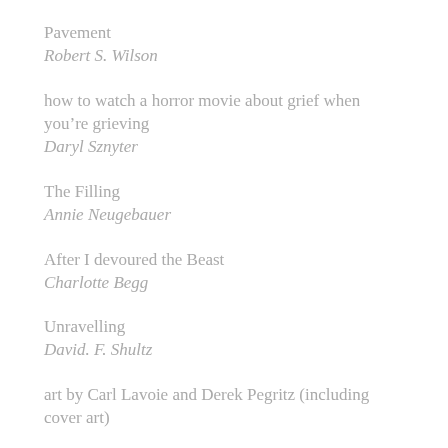Pavement
Robert S. Wilson
how to watch a horror movie about grief when you’re grieving
Daryl Sznyter
The Filling
Annie Neugebauer
After I devoured the Beast
Charlotte Begg
Unravelling
David. F. Shultz
art by Carl Lavoie and Derek Pegritz (including cover art)